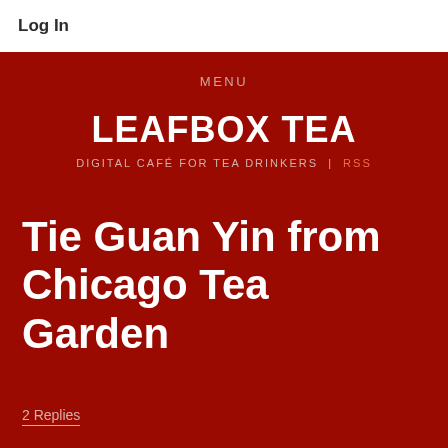Log In
MENU
LEAFBOX TEA
DIGITAL CAFÉ FOR TEA DRINKERS | RSS
Tie Guan Yin from Chicago Tea Garden
2 Replies